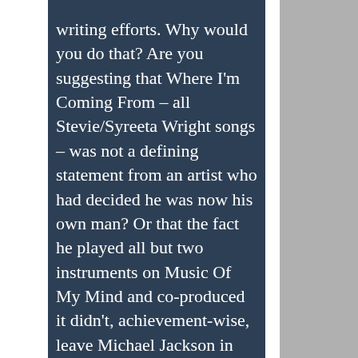writing efforts. Why would you do that? Are you suggesting that Where I'm Coming From – all Stevie/Syreeta Wright songs – was not a defining statement from an artist who had decided he was now his own man? Or that the fact he played all but two instruments on Music Of My Mind and co-produced it didn't, achievement-wise, leave Michael Jackson in the dust?